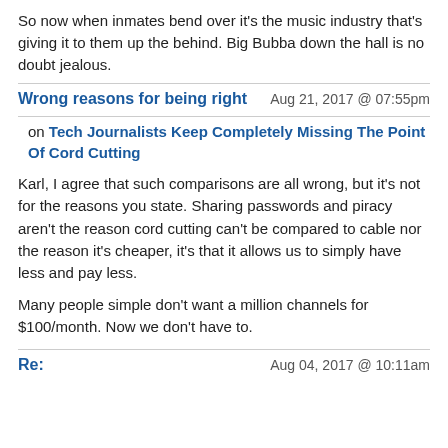So now when inmates bend over it's the music industry that's giving it to them up the behind. Big Bubba down the hall is no doubt jealous.
Wrong reasons for being right
Aug 21, 2017 @ 07:55pm
on Tech Journalists Keep Completely Missing The Point Of Cord Cutting
Karl, I agree that such comparisons are all wrong, but it's not for the reasons you state. Sharing passwords and piracy aren't the reason cord cutting can't be compared to cable nor the reason it's cheaper, it's that it allows us to simply have less and pay less.

Many people simple don't want a million channels for $100/month. Now we don't have to.
Re:
Aug 04, 2017 @ 10:11am
This site, like most other sites on the web, uses cookies. For more information, see our privacy policy
GOT IT